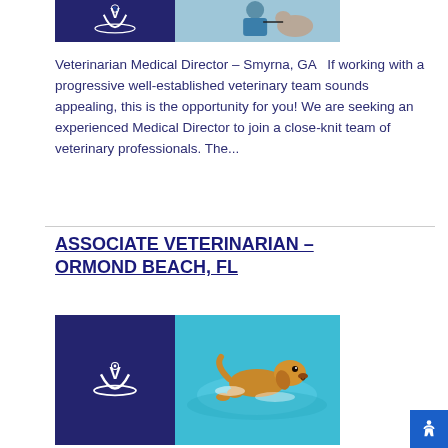[Figure (photo): Composite image: left side shows veterinary clinic logo (white V with paw print on dark navy background), right side shows a veterinarian examining a puppy with a stethoscope, wearing blue scrubs.]
Veterinarian Medical Director – Smyrna, GA   If working with a progressive well-established veterinary team sounds appealing, this is the opportunity for you! We are seeking an experienced Medical Director to join a close-knit team of veterinary professionals. The...
ASSOCIATE VETERINARIAN – ORMOND BEACH, FL
[Figure (photo): Composite image: left side shows veterinary clinic logo (white V with paw print on dark navy background), right side shows a golden Labrador dog swimming happily in a pool.]